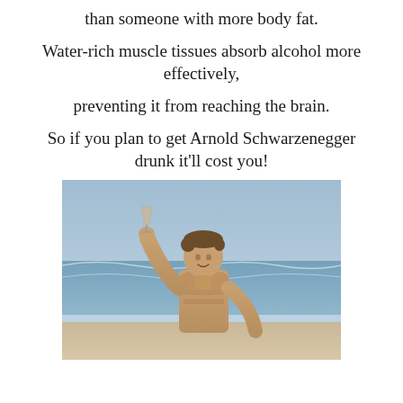than someone with more body fat.
Water-rich muscle tissues absorb alcohol more effectively,
preventing it from reaching the brain.
So if you plan to get Arnold Schwarzenegger drunk it'll cost you!
[Figure (photo): Young muscular man shirtless on a beach holding up a wine glass, smiling, with ocean and sky in background.]